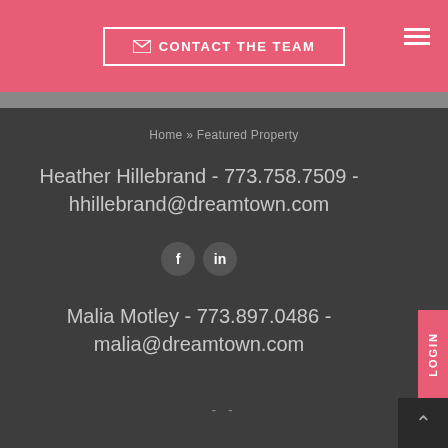CONTACT THE TEAM
Home » Featured Property
Heather Hillebrand - 773.758.7509 - hhillebrand@dreamtown.com
[Figure (infographic): Facebook and LinkedIn social media icons]
Malia Motley - 773.897.0486 - malia@dreamtown.com
- -